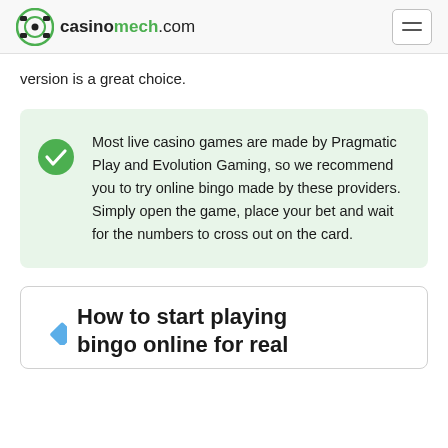casinomech.com
version is a great choice.
Most live casino games are made by Pragmatic Play and Evolution Gaming, so we recommend you to try online bingo made by these providers. Simply open the game, place your bet and wait for the numbers to cross out on the card.
How to start playing bingo online for real